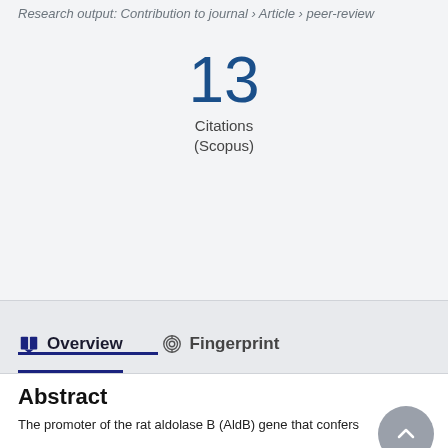Research output: Contribution to journal › Article › peer-review
13
Citations
(Scopus)
Overview   Fingerprint
Abstract
The promoter of the rat aldolase B (AldB) gene that confers